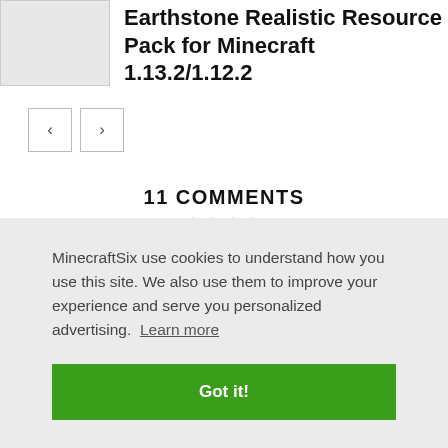[Figure (photo): Thumbnail image placeholder — light gray square representing a resource pack preview image]
Earthstone Realistic Resource Pack for Minecraft 1.13.2/1.12.2
[Figure (other): Navigation buttons: left arrow and right arrow buttons for browsing articles]
11 COMMENTS
MinecraftSix use cookies to understand how you use this site. We also use them to improve your experience and serve you personalized advertising. Learn more
Got it!